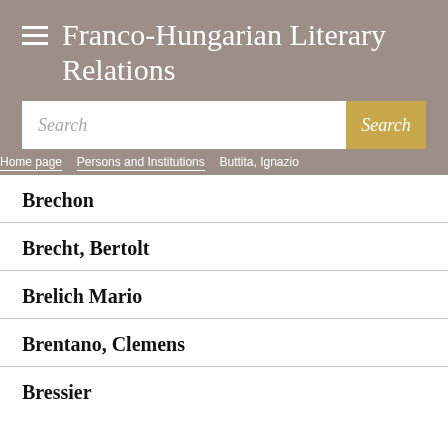Franco-Hungarian Literary Relations
Search
Home page > Persons and Institutions > Buttita, Ignazio
Brechon
Brecht, Bertolt
Brelich Mario
Brentano, Clemens
Bressier